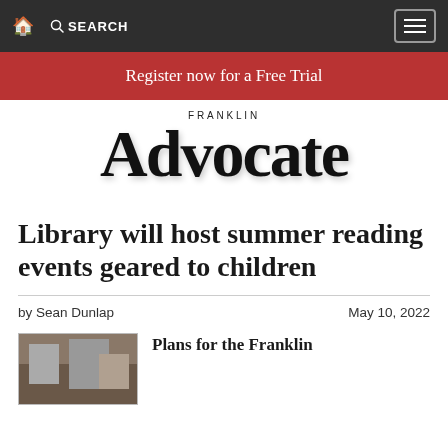🏠 SEARCH ☰
Register now for a Free Trial
[Figure (logo): Franklin Advocate newspaper logo in blackletter/gothic script]
Library will host summer reading events geared to children
by Sean Dunlap — May 10, 2022
[Figure (photo): Small thumbnail photo]
Plans for the Franklin